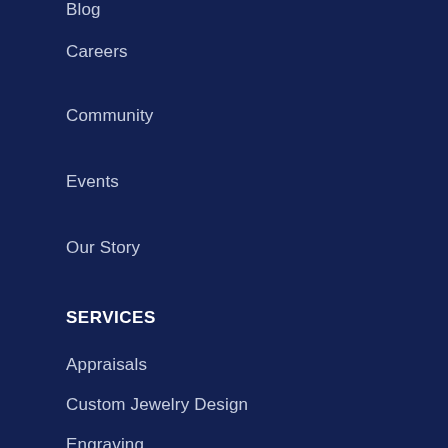Blog
Careers
Community
Events
Our Story
SERVICES
Appraisals
Custom Jewelry Design
Engraving
Repairs & Service
SUPPORT
Contact Us
FAQs